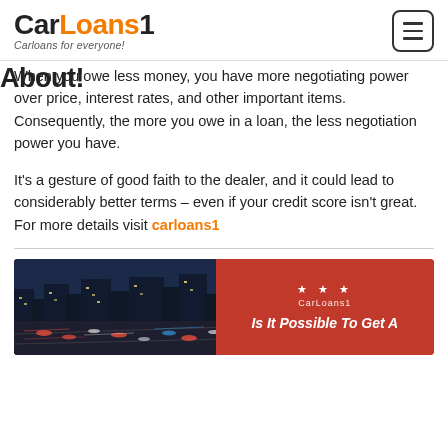CarLoans1 — Carloans for everyone!
About!
When you owe less money, you have more negotiating power over price, interest rates, and other important items. Consequently, the more you owe in a loan, the less negotiation power you have.
It's a gesture of good faith to the dealer, and it could lead to considerably better terms – even if your credit score isn't great. For more details visit carloans1
[Figure (infographic): Red card with left side showing a night traffic photo with colorful city lights and cars, right side showing CarLoans1 logo with three stars and partial title text 'Is It Possible To Get A']